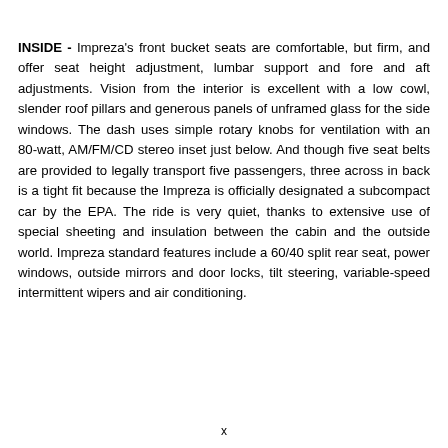INSIDE - Impreza's front bucket seats are comfortable, but firm, and offer seat height adjustment, lumbar support and fore and aft adjustments. Vision from the interior is excellent with a low cowl, slender roof pillars and generous panels of unframed glass for the side windows. The dash uses simple rotary knobs for ventilation with an 80-watt, AM/FM/CD stereo inset just below. And though five seat belts are provided to legally transport five passengers, three across in back is a tight fit because the Impreza is officially designated a subcompact car by the EPA. The ride is very quiet, thanks to extensive use of special sheeting and insulation between the cabin and the outside world. Impreza standard features include a 60/40 split rear seat, power windows, outside mirrors and door locks, tilt steering, variable-speed intermittent wipers and air conditioning.
x